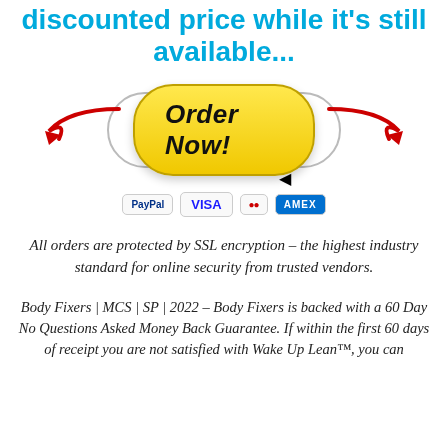discounted price while it's still available...
[Figure (illustration): Yellow 'Order Now!' button with red arrows pointing to it from left and right, surrounded by a gray oval outline, with a cursor icon below the button, and payment icons (PayPal, VISA, Mastercard, Amex) below]
All orders are protected by SSL encryption – the highest industry standard for online security from trusted vendors.
Body Fixers | MCS | SP | 2022 – Body Fixers is backed with a 60 Day No Questions Asked Money Back Guarantee. If within the first 60 days of receipt you are not satisfied with Wake Up Lean™, you can